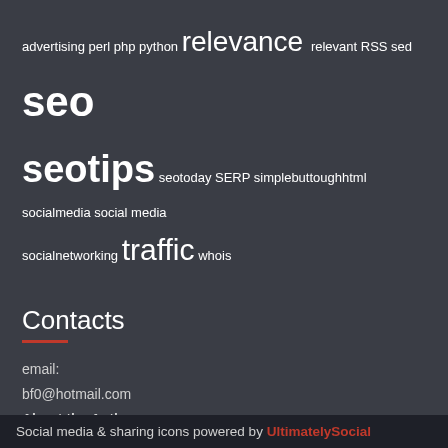advertising perl php python relevance relevant RSS sed seo seotips seotoday SERP simplebuttoughhtml socialmedia social media socialnetworking traffic whois
Contacts
email:
bf0@hotmail.com
About the Author
[Figure (logo): Google+ icon in red/orange circle]
Copyright © 2022 InternetInReview. All rights reserved. Custom Wordpress Blog Design by ABF Designs.
Social media & sharing icons powered by UltimatelySocial